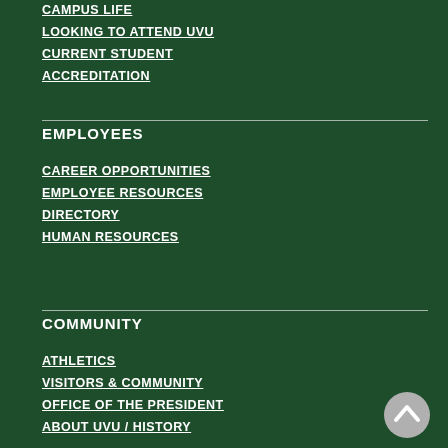CAMPUS LIFE
LOOKING TO ATTEND UVU
CURRENT STUDENT
ACCREDITATION
EMPLOYEES
CAREER OPPORTUNITIES
EMPLOYEE RESOURCES
DIRECTORY
HUMAN RESOURCES
COMMUNITY
ATHLETICS
VISITORS & COMMUNITY
OFFICE OF THE PRESIDENT
ABOUT UVU / HISTORY